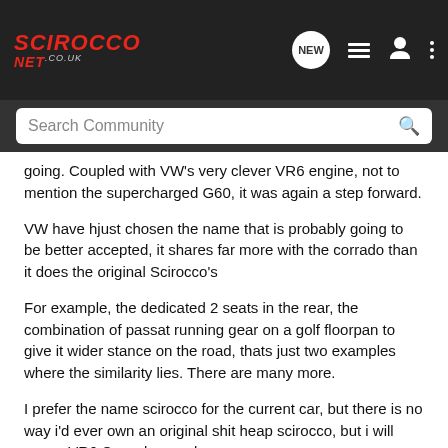SCIROCCO NET.co.uk
Search Community
going. Coupled with VW's very clever VR6 engine, not to mention the supercharged G60, it was again a step forward.
VW have hjust chosen the name that is probably going to be better accepted, it shares far more with the corrado than it does the original Scirocco's
For example, the dedicated 2 seats in the rear, the combination of passat running gear on a golf floorpan to give it wider stance on the road, thats just two examples where the similarity lies. There are many more.
I prefer the name scirocco for the current car, but there is no way i'd ever own an original shit heap scirocco, but i will own a VR6 Corrado one day